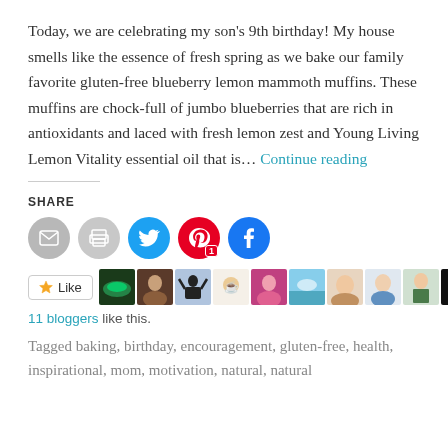Today, we are celebrating my son's 9th birthday! My house smells like the essence of fresh spring as we bake our family favorite gluten-free blueberry lemon mammoth muffins. These muffins are chock-full of jumbo blueberries that are rich in antioxidants and laced with fresh lemon zest and Young Living Lemon Vitality essential oil that is... Continue reading
SHARE
[Figure (infographic): Row of social share icon buttons: email (grey), print (grey), Twitter (blue), Pinterest (red with badge '1'), Facebook (blue)]
[Figure (infographic): Like button with star icon and a strip of 9 blogger avatar thumbnails]
11 bloggers like this.
Tagged baking, birthday, encouragement, gluten-free, health, inspirational, mom, motivation, natural, natural